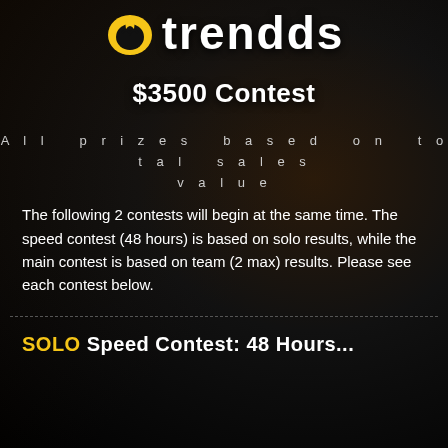[Figure (logo): Trendds logo with yellow flame/face icon and white bold text 'trendds']
$3500 Contest
All prizes based on total sales value
The following 2 contests will begin at the same time. The speed contest (48 hours) is based on solo results, while the main contest is based on team (2 max) results. Please see each contest below.
SOLO Speed Contest: 48 Hours...